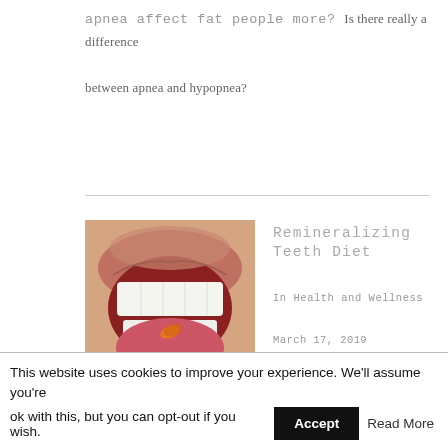apnea affect fat people more? Is there really a difference between apnea and hypopnea?
[Figure (photo): Close-up photo of a mouth open wide with a pill on the tongue, representing dental/health topic]
Remineralizing Teeth Diet
In Health and Wellness
March 17, 2019
Proper dieting is so significant that it expedites the fighting of chronic diseases like diabetes, blood pressure and many other ailments. Also, it helps in doing away with teeth related diseases like tooth decay. Usually, a
This website uses cookies to improve your experience. We'll assume you're ok with this, but you can opt-out if you wish.
Accept
Read More